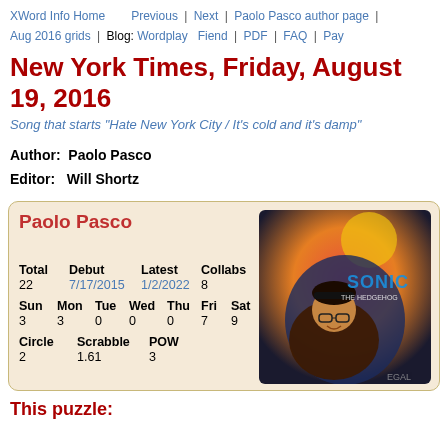XWord Info Home | Previous | Next | Paolo Pasco author page | Aug 2016 grids | Blog: Wordplay Fiend | PDF | FAQ | Pay
New York Times, Friday, August 19, 2016
Song that starts "Hate New York City / It's cold and it's damp"
Author: Paolo Pasco
Editor: Will Shortz
[Figure (infographic): Author card for Paolo Pasco showing stats: Total 22, Debut 7/17/2015, Latest 1/2/2022, Collabs 8, Sun 3, Mon 3, Tue 0, Wed 0, Thu 0, Fri 7, Sat 9, Circle 2, Scrabble 1.61, POW 3. Photo of person smiling in front of Sonic the Hedgehog movie poster.]
This puzzle: